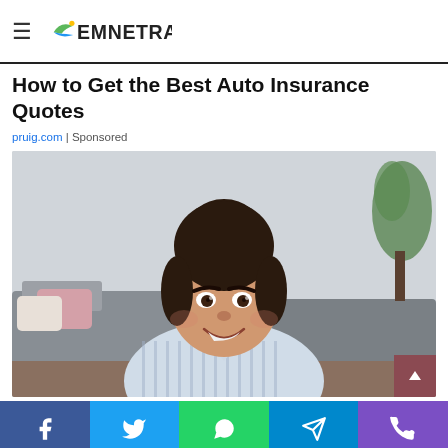EMNETRA (logo)
How to Get the Best Auto Insurance Quotes
pruig.com | Sponsored
[Figure (photo): A smiling young woman with dark hair in a bun, wearing a light blue striped shirt, sitting in a living room with a couch and plant in background]
Social sharing bar: Facebook, Twitter, WhatsApp, Telegram, Phone